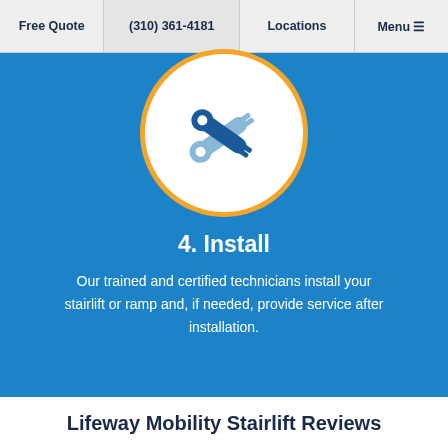Free Quote | (310) 361-4181 | Locations | Menu
[Figure (illustration): Circular icon with yellow border on blue background showing crossed wrench/tool icons in light blue and dark blue colors, representing installation service.]
4. Install
Our trained and certified technicians install your stairlift or ramp and, if needed, provide service after installation.
Lifeway Mobility Stairlift Reviews